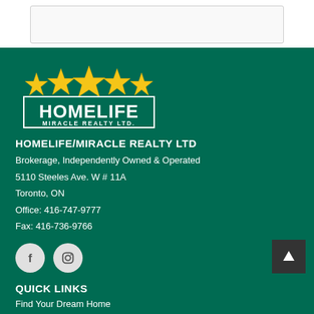[Figure (logo): HomeLife Miracle Realty Ltd logo with five gold stars above the text HOMELIFE MIRACLE REALTY LTD. in white on dark green background]
HOMELIFE/MIRACLE REALTY LTD
Brokerage, Independently Owned & Operated
5110 Steeles Ave. W # 11A
Toronto, ON
Office: 416-747-9777
Fax: 416-736-9766
[Figure (other): Facebook and Instagram social media icons as circular buttons]
QUICK LINKS
Find Your Dream Home